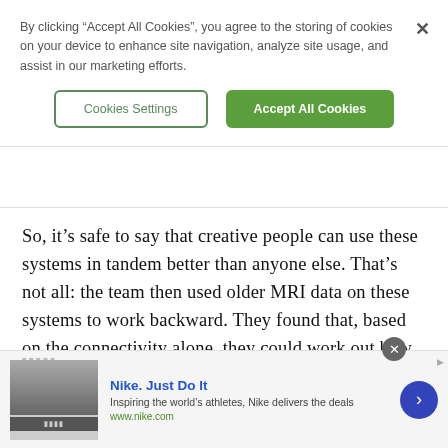By clicking “Accept All Cookies”, you agree to the storing of cookies on your device to enhance site navigation, analyze site usage, and assist in our marketing efforts.
Cookies Settings
Accept All Cookies
So, it’s safe to say that creative people can use these systems in tandem better than anyone else. That’s not all: the team then used older MRI data on these systems to work backward. They found that, based on the connectivity alone, they could work out how “original” the ideas and behaviors of the people would be.
[Figure (screenshot): Nike advertisement banner with Nike logo area, headline 'Nike. Just Do It', description 'Inspiring the world’s athletes, Nike delivers the deals', URL 'www.nike.com', and a blue circular chevron button on the right.]